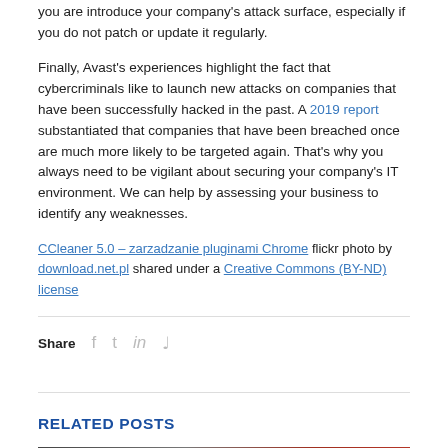you are introduce your company's attack surface, especially if you do not patch or update it regularly.
Finally, Avast's experiences highlight the fact that cybercriminals like to launch new attacks on companies that have been successfully hacked in the past. A 2019 report substantiated that companies that have been breached once are much more likely to be targeted again. That's why you always need to be vigilant about securing your company's IT environment. We can help by assessing your business to identify any weaknesses.
CCleaner 5.0 – zarzadzanie pluginami Chrome flickr photo by download.net.pl shared under a Creative Commons (BY-ND) license
Share
RELATED POSTS
[Figure (photo): Related post image thumbnail showing a dark background with red tones]